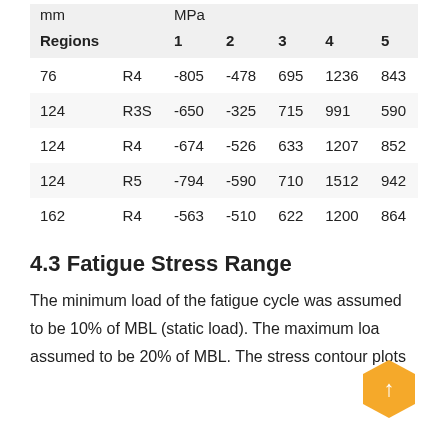|  |  | MPa |  |  |  |  |
| --- | --- | --- | --- | --- | --- | --- |
| Regions |  | 1 | 2 | 3 | 4 | 5 |
| 76 | R4 | -805 | -478 | 695 | 1236 | 843 |
| 124 | R3S | -650 | -325 | 715 | 991 | 590 |
| 124 | R4 | -674 | -526 | 633 | 1207 | 852 |
| 124 | R5 | -794 | -590 | 710 | 1512 | 942 |
| 162 | R4 | -563 | -510 | 622 | 1200 | 864 |
4.3 Fatigue Stress Range
The minimum load of the fatigue cycle was assumed to be 10% of MBL (static load). The maximum load assumed to be 20% of MBL. The stress contour plots